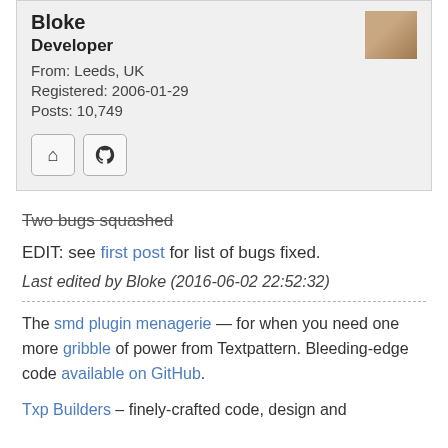Bloke
Developer
From: Leeds, UK
Registered: 2006-01-29
Posts: 10,749
[Figure (other): Home icon button and GitHub icon button]
Two bugs squashed (strikethrough)
EDIT: see first post for list of bugs fixed.
Last edited by Bloke (2016-06-02 22:52:32)
The smd plugin menagerie — for when you need one more gribble of power from Textpattern. Bleeding-edge code available on GitHub.
Txp Builders – finely-crafted code, design and